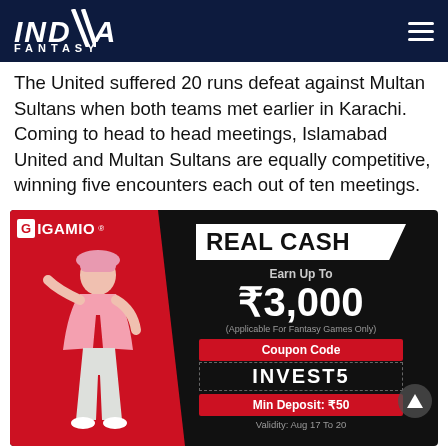INDIA FANTASY
The United suffered 20 runs defeat against Multan Sultans when both teams met earlier in Karachi. Coming to head to head meetings, Islamabad United and Multan Sultans are equally competitive, winning five encounters each out of ten meetings.
[Figure (infographic): Gigamio advertisement banner. Red and black background with woman jumping. Text: REAL CASH, Earn Up To ₹3,000, (Applicable For Fantasy Games Only), Coupon Code, INVEST5, Min Deposit: ₹50, Validity: Aug 17 To 20]